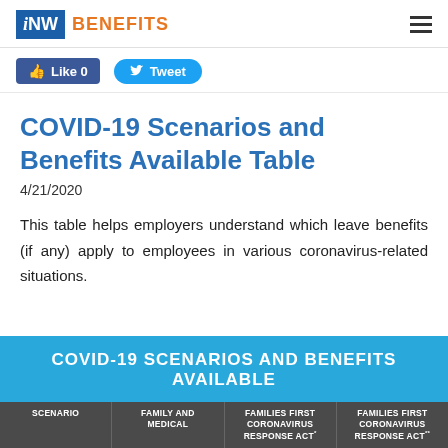iNW BENEFITS
Like 0   Tweet
COVID-19 Scenarios and Benefits Available Table
4/21/2020
This table helps employers understand which leave benefits (if any) apply to employees in various coronavirus-related situations.
[Figure (table-as-image): COVID-19 Scenarios and Benefits Available table banner with column headers: SCENARIO, FAMILY AND MEDICAL, FAMILIES FIRST CORONAVIRUS RESPONSE ACT, FAMILIES FIRST CORONAVIRUS RESPONSE ACT]